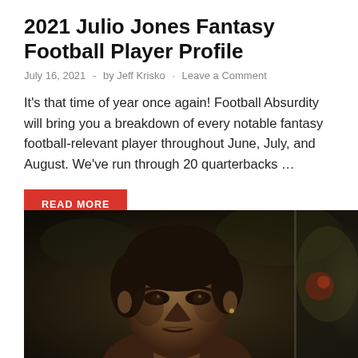2021 Julio Jones Fantasy Football Player Profile
July 16, 2021 · by Jeff Krisko · Leave a Comment
It's that time of year once again! Football Absurdity will bring you a breakdown of every notable fantasy football-relevant player throughout June, July, and August. We've run through 20 quarterbacks ...
READ MORE
[Figure (photo): Close-up photograph of an NFL football player (Julio Jones) with a dark background, looking intensely at the camera.]